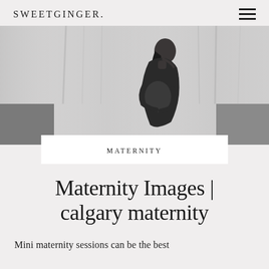SWEETGINGER.
[Figure (photo): Black and white photo of a pregnant woman in a dark dress, looking down and cradling her belly, standing in front of a light curtain backdrop]
MATERNITY
Maternity Images | calgary maternity
Mini maternity sessions can be the best